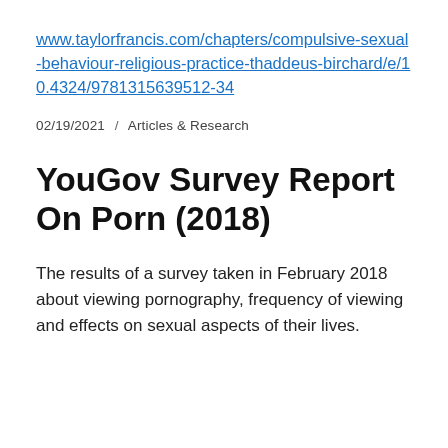www.taylorfrancis.com/chapters/compulsive-sexual-behaviour-religious-practice-thaddeus-birchard/e/10.4324/9781315639512-34
02/19/2021  /  Articles & Research
YouGov Survey Report On Porn (2018)
The results of a survey taken in February 2018 about viewing pornography, frequency of viewing and effects on sexual aspects of their lives.